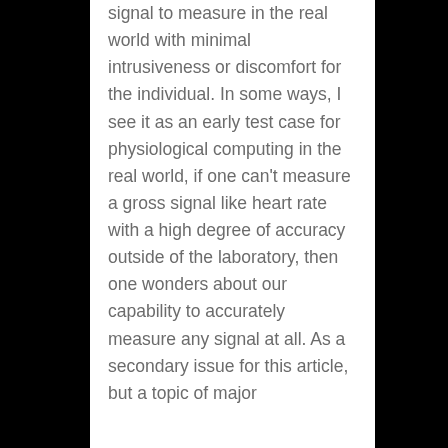signal to measure in the real world with minimal intrusiveness or discomfort for the individual. In some ways, I see it as an early test case for physiological computing in the real world, if one can't measure a gross signal like heart rate with a high degree of accuracy outside of the laboratory, then one wonders about our capability to accurately measure any signal at all. As a secondary issue for this article, but a topic of major